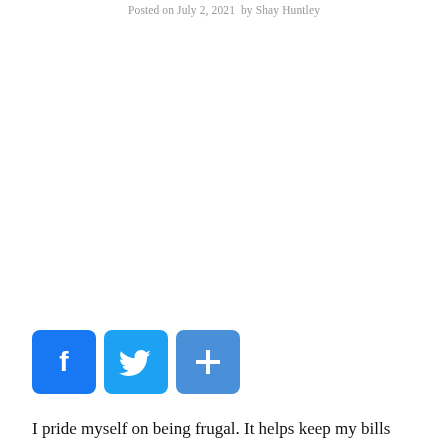Posted on July 2, 2021  by Shay Huntley
[Figure (other): Social share buttons: Facebook (blue f icon), Twitter (blue bird icon), Share/plus (blue plus icon)]
I pride myself on being frugal. It helps keep my bills low and my pockets full. I am always giving tips to my peers on how